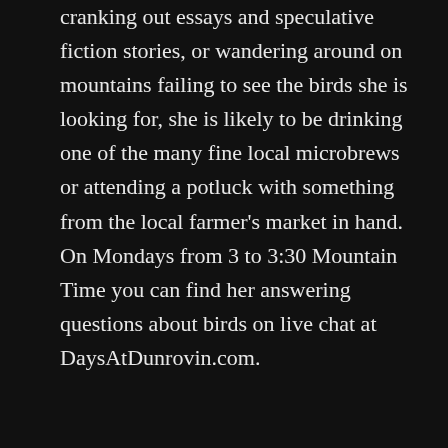cranking out essays and speculative fiction stories, or wandering around on mountains failing to see the birds she is looking for, she is likely to be drinking one of the many fine local microbrews or attending a potluck with something from the local farmer's market in hand. On Mondays from 3 to 3:30 Mountain Time you can find her answering questions about birds on live chat at DaysAtDunrovin.com.